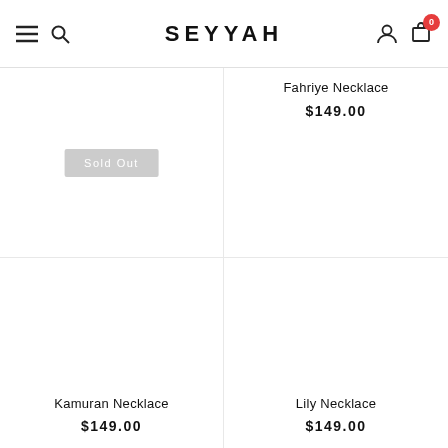SEYYAH
Fahriye Necklace
$149.00
Sold Out
Kamuran Necklace
$149.00
Lily Necklace
$149.00